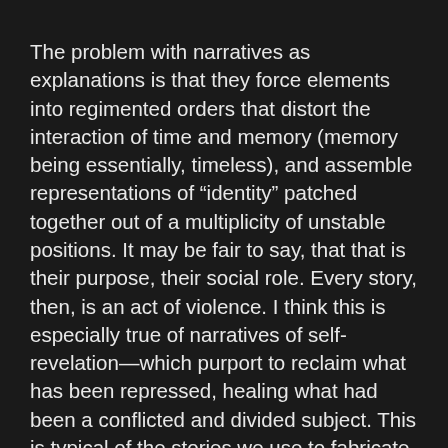The problem with narratives as explanations is that they force elements into regimented orders that distort the interaction of time and memory (memory being essentially, timeless), and assemble representations of “identity” patched together out of a multiplicity of unstable positions. It may be fair to say, that that is their purpose, their social role. Every story, then, is an act of violence. I think this is especially true of narratives of self-revelation—which purport to reclaim what has been repressed, healing what had been a conflicted and divided subject. This is typical of the stories we use to fabricate our own identity. I found myself doing exactly this, wondering how to reconcile a life time of socially normative sexual relationships with where I find myself now—openly Queer and gay. It was useful to some degree: rescuing pieces of my childhood and adolescence. But the assumption of a continuity of desire, covered over or denied, is a narrative fabrication. As though I had been